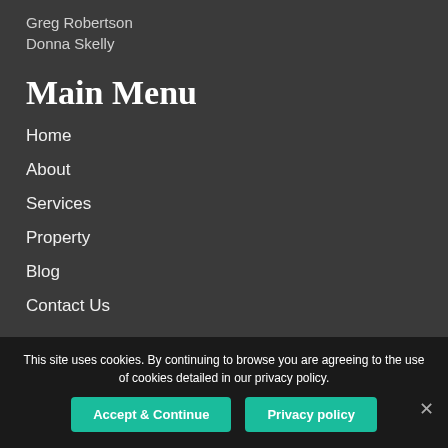Greg Robertson
Donna Skelly
Main Menu
Home
About
Services
Property
Blog
Contact Us
This site uses cookies. By continuing to browse you are agreeing to the use of cookies detailed in our privacy policy.
Accept & Continue | Privacy policy